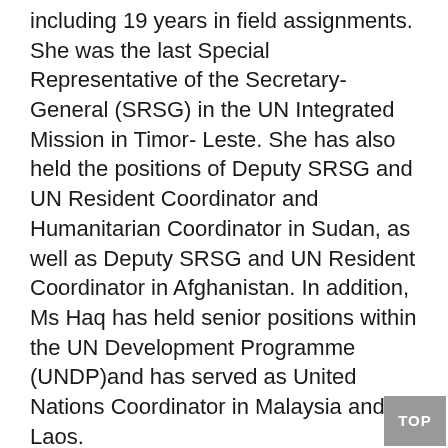including 19 years in field assignments. She was the last Special Representative of the Secretary-General (SRSG) in the UN Integrated Mission in Timor- Leste. She has also held the positions of Deputy SRSG and UN Resident Coordinator and Humanitarian Coordinator in Sudan, as well as Deputy SRSG and UN Resident Coordinator in Afghanistan. In addition, Ms Haq has held senior positions within the UN Development Programme (UNDP)and has served as United Nations Coordinator in Malaysia and Laos.
Ms Haq currently serves on the Board for the Centre for Humanitarian Dialogue in Geneva, on the Group on Human Rights Up Front, and on the Board for the Peace Operations Training Institute, Williamsburg, Virginia. She is also a Advisor to the United Nations Foundation in Washington and a member of the Special Advisory Group of the Challenges Forum of the Folke Bernadette Academy of Sweden. Ms Haq lectures frequently at universities and speaks at seminars hosted by think tanks and non-governmental organisations.